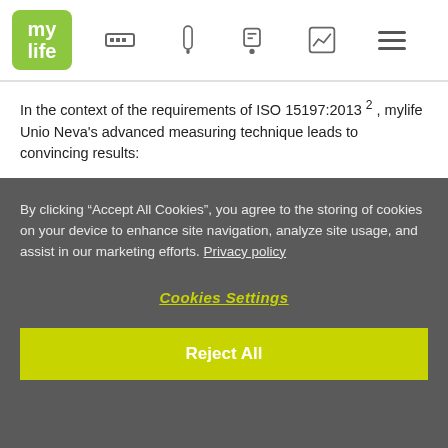mylife [navigation icons]
In the context of the requirements of ISO 15197:2013 2 , mylife Unio Neva's advanced measuring technique leads to convincing results:
System accuracy 3
ISO 15197:2013 demands ≥ 95 % of measurements within ± 0.83 mmol/L at a glucose concentration < 5.55 mmol/L and within ± 15 % at a glucose concentration ≥ 5.55 mmol/L. All three reagent
By clicking “Accept All Cookies”, you agree to the storing of cookies on your device to enhance site navigation, analyze site usage, and assist in our marketing efforts. Privacy policy
Cookies Settings
Reject All